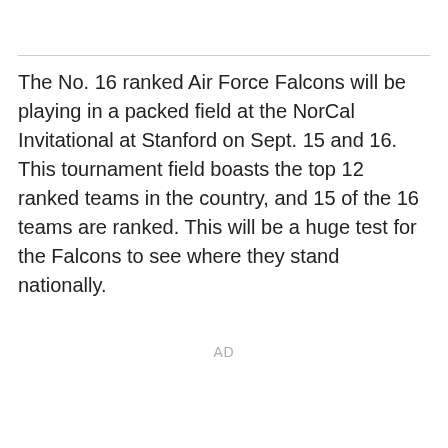The No. 16 ranked Air Force Falcons will be playing in a packed field at the NorCal Invitational at Stanford on Sept. 15 and 16. This tournament field boasts the top 12 ranked teams in the country, and 15 of the 16 teams are ranked. This will be a huge test for the Falcons to see where they stand nationally.
AD